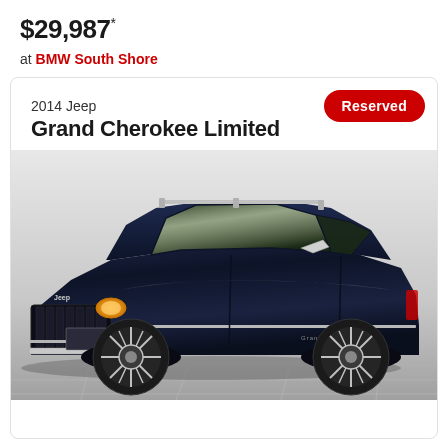$29,987*
at BMW South Shore
Reserved
2014 Jeep
Grand Cherokee Limited
[Figure (photo): 2014 Jeep Grand Cherokee Limited in dark navy blue, three-quarter front view, parked on gray tile surface. Chrome roof rails, chrome mirror caps, chrome grille, and chrome trim details visible.]